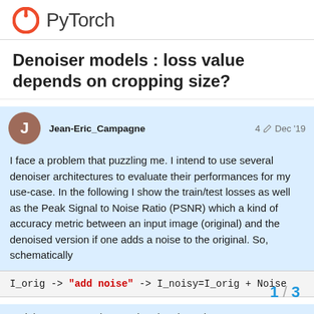PyTorch
Denoiser models : loss value depends on cropping size?
Jean-Eric_Campagne   4  Dec '19
I face a problem that puzzling me. I intend to use several denoiser architectures to evaluate their performances for my use-case. In the following I show the train/test losses as well as the Peak Signal to Noise Ratio (PSNR) which a kind of accuracy metric between an input image (original) and the denoised version if one adds a noise to the original. So, schematically
I_orig -> "add noise" -> I_noisy=I_orig + Noise
and then compute the MSEloss(I_orig, I_d PSNR.
1 / 3